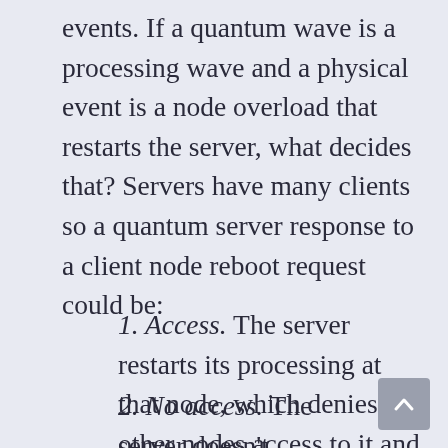events. If a quantum wave is a processing wave and a physical event is a node overload that restarts the server, what decides that? Servers have many clients so a quantum server response to a client node reboot request could be:
1. Access. The server restarts its processing at that node, which denies all other nodes access to it and collapses the quantum wave. This then is a physical event.
2. No access. The server doesn't respond as it is busy elsewhere so the